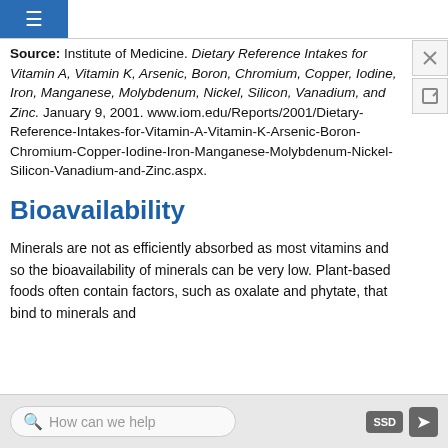Source: Institute of Medicine. Dietary Reference Intakes for Vitamin A, Vitamin K, Arsenic, Boron, Chromium, Copper, Iodine, Iron, Manganese, Molybdenum, Nickel, Silicon, Vanadium, and Zinc. January 9, 2001. www.iom.edu/Reports/2001/Dietary-Reference-Intakes-for-Vitamin-A-Vitamin-K-Arsenic-Boron-Chromium-Copper-Iodine-Iron-Manganese-Molybdenum-Nickel-Silicon-Vanadium-and-Zinc.aspx.
Bioavailability
Minerals are not as efficiently absorbed as most vitamins and so the bioavailability of minerals can be very low. Plant-based foods often contain factors, such as oxalate and phytate, that bind to minerals and